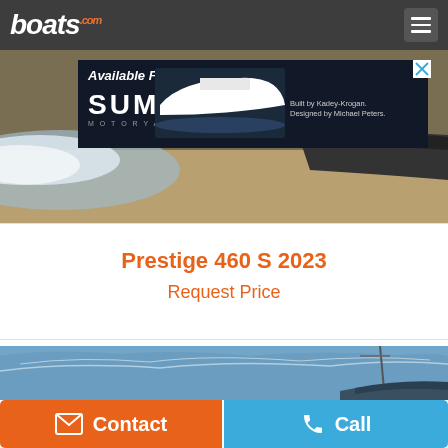boats.com
[Figure (photo): Speedboat racing on water with sandy beach background and a Summit Motoryachts advertisement overlay showing a white yacht]
Prestige 460 S 2023
Request Price
[Figure (photo): Boat on open water with blue sky and wispy clouds]
Contact
Call